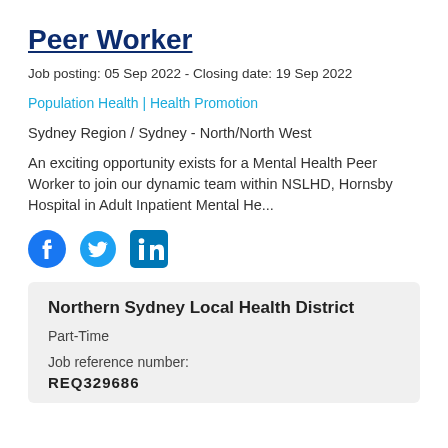Peer Worker
Job posting: 05 Sep 2022 - Closing date: 19 Sep 2022
Population Health | Health Promotion
Sydney Region / Sydney - North/North West
An exciting opportunity exists for a Mental Health Peer Worker to join our dynamic team within NSLHD, Hornsby Hospital in Adult Inpatient Mental He...
[Figure (illustration): Social media share icons: Facebook, Twitter, LinkedIn]
Northern Sydney Local Health District
Part-Time
Job reference number:
REQ329686